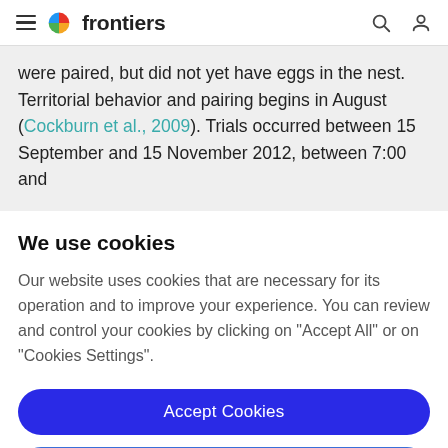frontiers
were paired, but did not yet have eggs in the nest. Territorial behavior and pairing begins in August (Cockburn et al., 2009). Trials occurred between 15 September and 15 November 2012, between 7:00 and
We use cookies
Our website uses cookies that are necessary for its operation and to improve your experience. You can review and control your cookies by clicking on "Accept All" or on "Cookies Settings".
Accept Cookies
Cookies Settings